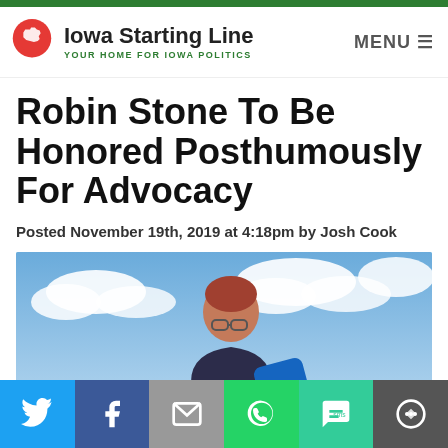Iowa Starting Line — YOUR HOME FOR IOWA POLITICS
Robin Stone To Be Honored Posthumously For Advocacy
Posted November 19th, 2019 at 4:18pm by Josh Cook
[Figure (photo): Photo of Robin Stone outdoors, against a partly cloudy sky. A woman with short reddish hair wearing glasses and a dark top.]
Social sharing bar: Twitter, Facebook, Email, WhatsApp, SMS, More